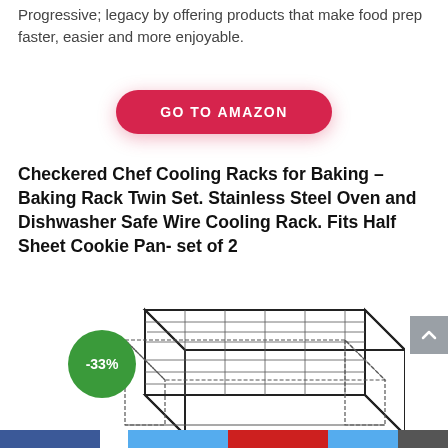Progressive; legacy by offering products that make food prep faster, easier and more enjoyable.
GO TO AMAZON
Checkered Chef Cooling Racks for Baking – Baking Rack Twin Set. Stainless Steel Oven and Dishwasher Safe Wire Cooling Rack. Fits Half Sheet Cookie Pan- set of 2
[Figure (photo): Product image of a wire cooling rack with a green circle badge showing -33% discount]
[Figure (other): Social media share bar at bottom of page]